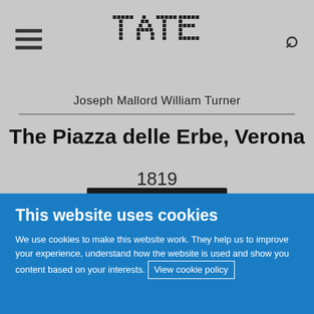[Figure (logo): Tate museum logo in dotted/pixelated text style, centered in navigation bar]
Joseph Mallord William Turner
The Piazza delle Erbe, Verona
1819
This website uses cookies
We use cookies to make this website work. They help us to improve your experience, understand how the website is used and show you content based on your interests. View cookie policy